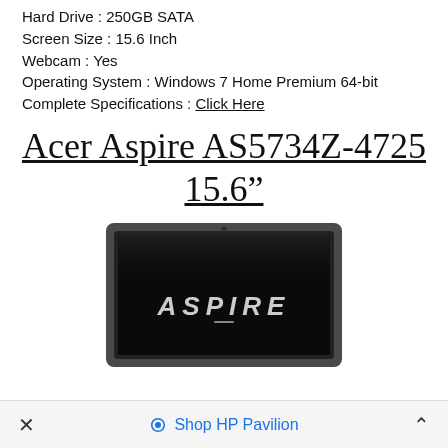Hard Drive : 250GB SATA
Screen Size : 15.6 Inch
Webcam : Yes
Operating System : Windows 7 Home Premium 64-bit
Complete Specifications : Click Here
Acer Aspire AS5734Z-4725 15.6"
[Figure (photo): Acer Aspire laptop showing screen with ASPIRE branding on black display, dark chassis, partially cropped at bottom]
× Shop HP Pavilion ^